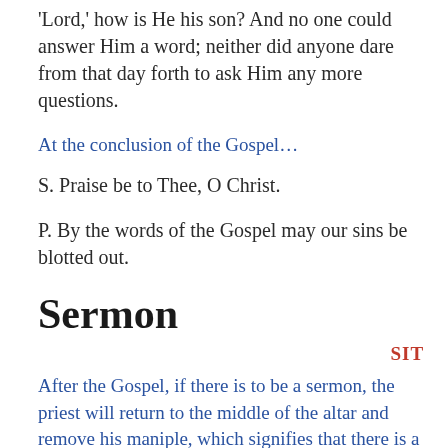'Lord,' how is He his son? And no one could answer Him a word; neither did anyone dare from that day forth to ask Him any more questions.
At the conclusion of the Gospel…
S. Praise be to Thee, O Christ.
P. By the words of the Gospel may our sins be blotted out.
Sermon
SIT
After the Gospel, if there is to be a sermon, the priest will return to the middle of the altar and remove his maniple, which signifies that there is a pause in the celebration of the Mass. The MC,